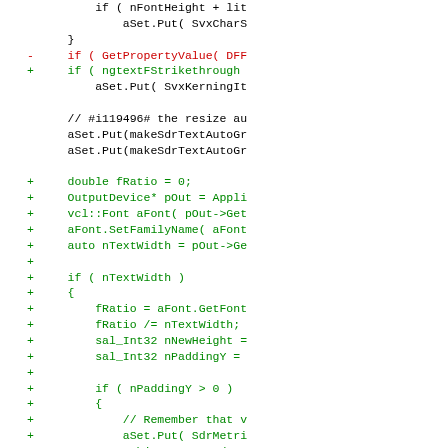[Figure (screenshot): Source code diff showing C++ code additions and removals. Lines with '-' marker in red (removed lines) and '+' marker in green (added lines). Code involves property value retrieval, text strikethrough, kerning, resize auto-grow, font ratio calculations, and padding operations.]